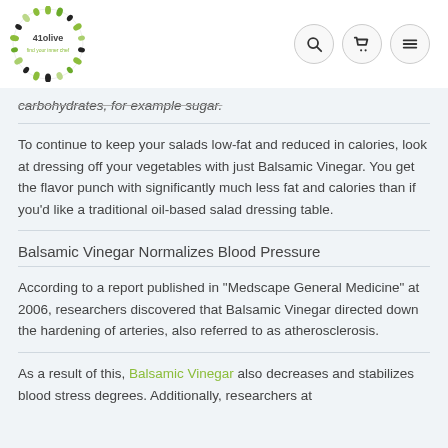41olive find your inner chef — navigation header with logo and icons
carbohydrates, for example sugar.
To continue to keep your salads low-fat and reduced in calories, look at dressing off your vegetables with just Balsamic Vinegar. You get the flavor punch with significantly much less fat and calories than if you'd like a traditional oil-based salad dressing table.
Balsamic Vinegar Normalizes Blood Pressure
According to a report published in "Medscape General Medicine" at 2006, researchers discovered that Balsamic Vinegar directed down the hardening of arteries, also referred to as atherosclerosis.
As a result of this, Balsamic Vinegar also decreases and stabilizes blood stress degrees. Additionally, researchers at